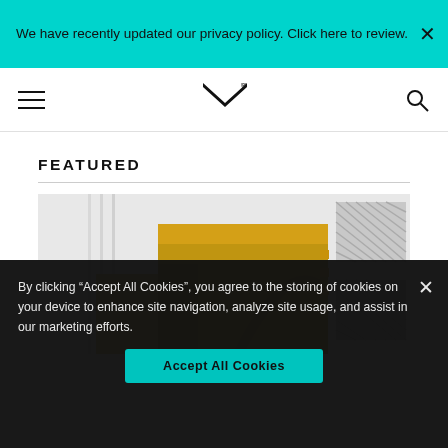We have recently updated our privacy policy. Click here to review.
[Figure (logo): Website navigation bar with hamburger menu, M logo mark, and search icon]
FEATURED
[Figure (illustration): Featured article image with golden yellow overlapping shapes and a landscape photo showing a road/river winding through trees]
By clicking “Accept All Cookies”, you agree to the storing of cookies on your device to enhance site navigation, analyze site usage, and assist in our marketing efforts.
Accept All Cookies